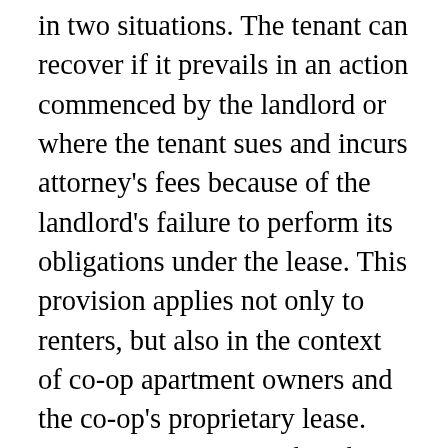in two situations. The tenant can recover if it prevails in an action commenced by the landlord or where the tenant sues and incurs attorney's fees because of the landlord's failure to perform its obligations under the lease. This provision applies not only to renters, but also in the context of co-op apartment owners and the co-op's proprietary lease. With co-ops, the transfer of a unit actually consists of transferring a proprietary lease in the unit and shares of the cooperative corporation.

The application of this law to co-op